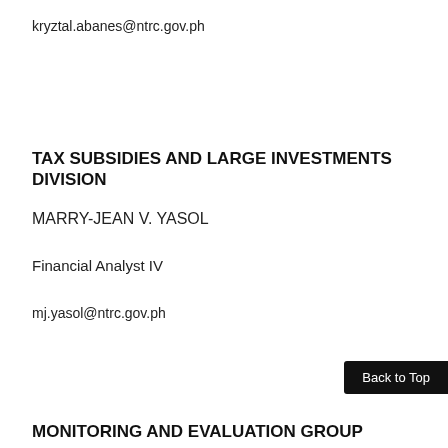kryztal.abanes@ntrc.gov.ph
TAX SUBSIDIES AND LARGE INVESTMENTS DIVISION
MARRY-JEAN V. YASOL
Financial Analyst IV
mj.yasol@ntrc.gov.ph
Back to Top
MONITORING AND EVALUATION GROUP